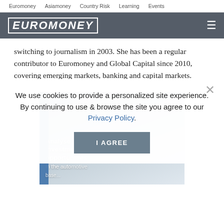Euromoney   Asiamoney   Country Risk   Learning   Events
EUROMONEY
switching to journalism in 2003. She has been a regular contributor to Euromoney and Global Capital since 2010, covering emerging markets, banking and capital markets.
[Figure (screenshot): Advertisement banner showing 'Analyse investment opportunities in the automotive sector' with blue gradient background]
We use cookies to provide a personalized site experience.
By continuing to use & browse the site you agree to our Privacy Policy.
I AGREE